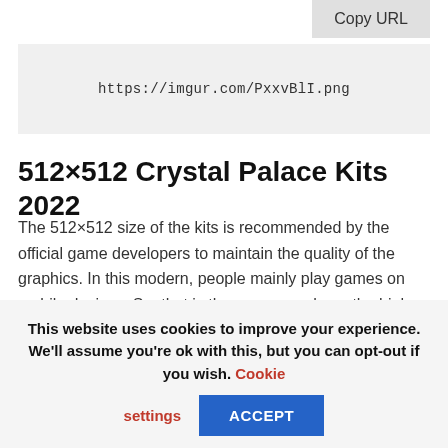Copy URL
https://imgur.com/PxxvBlI.png
512×512 Crystal Palace Kits 2022
The 512×512 size of the kits is recommended by the official game developers to maintain the quality of the graphics. In this modern, people mainly play games on mobile devices. So, that is the reason we have the high-definition DLS kits in 512×512 size with the logos as well.
This website uses cookies to improve your experience. We'll assume you're ok with this, but you can opt-out if you wish. Cookie settings ACCEPT